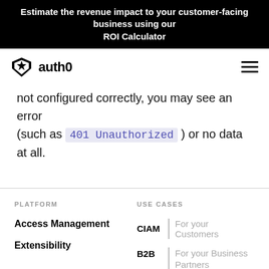Estimate the revenue impact to your customer-facing business using our ROI Calculator
[Figure (logo): Auth0 logo with star shield icon]
not configured correctly, you may see an error (such as 401 Unauthorized ) or no data at all.
PLATFORM
USE CASES
Access Management
CIAM | For your Customers
Extensibility
B2B | For your Business Partners